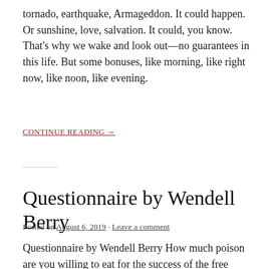tornado, earthquake, Armageddon. It could happen. Or sunshine, love, salvation. It could, you know. That's why we wake and look out––no guarantees in this life. But some bonuses, like morning, like right now, like noon, like evening.
CONTINUE READING →
Questionnaire by Wendell Berry
Posted on August 6, 2019 · Leave a comment
Questionnaire by Wendell Berry How much poison are you willing to eat for the success of the free market and global trade? Please name your preferred poisons. For the sake of goodness, how much evil are